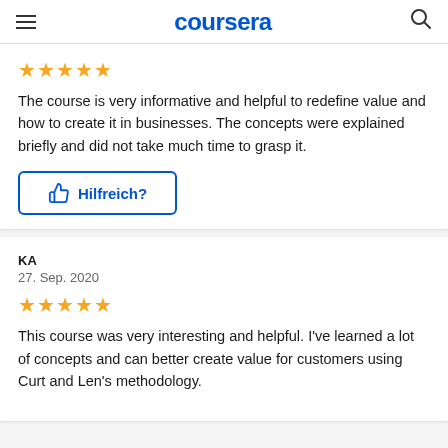coursera
[Figure (other): Five gold star rating]
The course is very informative and helpful to redefine value and how to create it in businesses. The concepts were explained briefly and did not take much time to grasp it.
Hilfreich?
KA
27. Sep. 2020
[Figure (other): Five gold star rating]
This course was very interesting and helpful. I've learned a lot of concepts and can better create value for customers using Curt and Len's methodology.